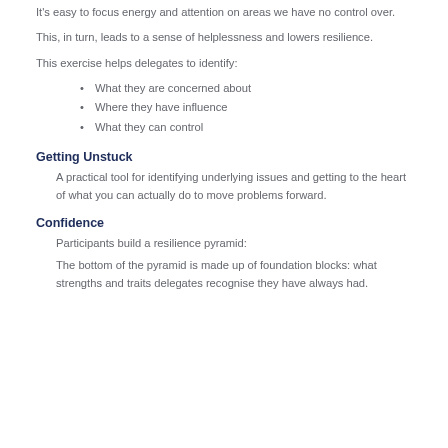It's easy to focus energy and attention on areas we have no control over.
This, in turn, leads to a sense of helplessness and lowers resilience.
This exercise helps delegates to identify:
What they are concerned about
Where they have influence
What they can control
Getting Unstuck
A practical tool for identifying underlying issues and getting to the heart of what you can actually do to move problems forward.
Confidence
Participants build a resilience pyramid:
The bottom of the pyramid is made up of foundation blocks: what strengths and traits delegates recognise they have always had.